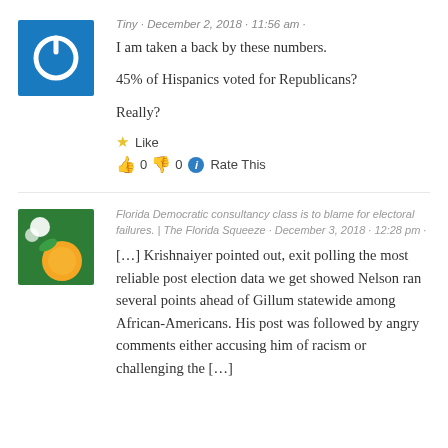[Figure (illustration): Blue square avatar with white power button icon]
Tiny · December 2, 2018 · 11:56 am ·
I am taken a back by these numbers.

45% of Hispanics voted for Republicans?

Really?
Like
👍 0 👎 0 ℹ Rate This
[Figure (illustration): Green square avatar with orange and white flower/citrus illustration]
Florida Democratic consultancy class is to blame for electoral failures. | The Florida Squeeze · December 3, 2018 · 12:28 pm ·
[…] Krishnaiyer pointed out, exit polling the most reliable post election data we get showed Nelson ran several points ahead of Gillum statewide among African-Americans.  His post was followed by angry comments either accusing him of racism or challenging the […]